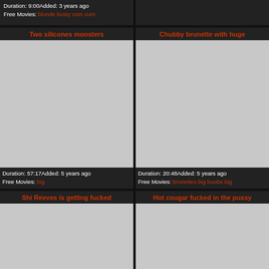Duration: 9:00Added: 3 years ago
Free Movies: blonde busty cum cum
Two silicones monsters
[Figure (photo): Video thumbnail placeholder grey]
Duration: 57:17Added: 5 years ago
Free Movies: big
Chubby brunette with huge
[Figure (photo): Video thumbnail placeholder grey]
Duration: 20:48Added: 5 years ago
Free Movies: brunettes big boobs big
Shi Reeves is getting fucked
[Figure (photo): Video thumbnail placeholder grey]
Hot cougar fucked in the pussy
[Figure (photo): Video thumbnail placeholder grey]